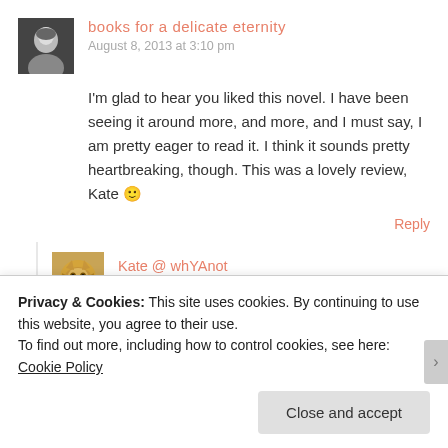books for a delicate eternity
August 8, 2013 at 3:10 pm
I'm glad to hear you liked this novel. I have been seeing it around more, and more, and I must say, I am pretty eager to read it. I think it sounds pretty heartbreaking, though. This was a lovely review, Kate 🙂
Reply
Kate @ whYAnot
Privacy & Cookies: This site uses cookies. By continuing to use this website, you agree to their use.
To find out more, including how to control cookies, see here: Cookie Policy
Close and accept